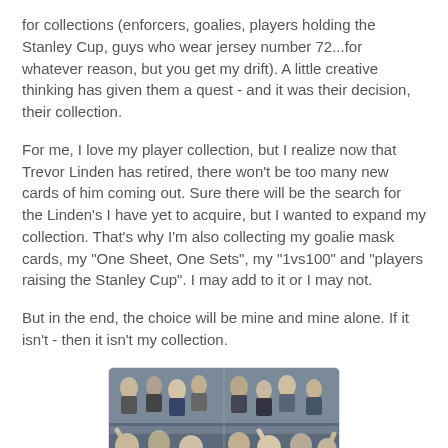for collections (enforcers, goalies, players holding the Stanley Cup, guys who wear jersey number 72...for whatever reason, but you get my drift). A little creative thinking has given them a quest - and it was their decision, their collection.
For me, I love my player collection, but I realize now that Trevor Linden has retired, there won't be too many new cards of him coming out. Sure there will be the search for the Linden's I have yet to acquire, but I wanted to expand my collection. That's why I'm also collecting my goalie mask cards, my "One Sheet, One Sets", my "1vs100" and "players raising the Stanley Cup". I may add to it or I may not.
But in the end, the choice will be mine and mine alone. If it isn't - then it isn't my collection.
[Figure (photo): A crowd of hockey fans in the stands at a hockey arena, partially cropped at the bottom of the page.]